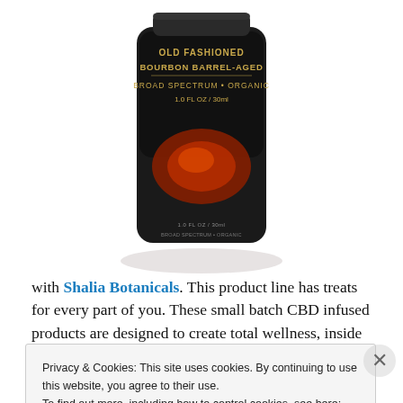[Figure (photo): Dark glass bottle with brown cap showing 'Bourbon Barrel-Aged, Broad Spectrum Organic, 1.0 FL OZ / 30ml' label on dark background, bottom of bottle visible with reflection]
with Shalia Botanicals. This product line has treats for every part of you. These small batch CBD infused products are designed to create total wellness, inside and out. I have been using their Old Fashioned CBD Tincture and Vibrant Face Wash. I take the CBD at night before
Privacy & Cookies: This site uses cookies. By continuing to use this website, you agree to their use.
To find out more, including how to control cookies, see here: Cookie Policy
Close and accept